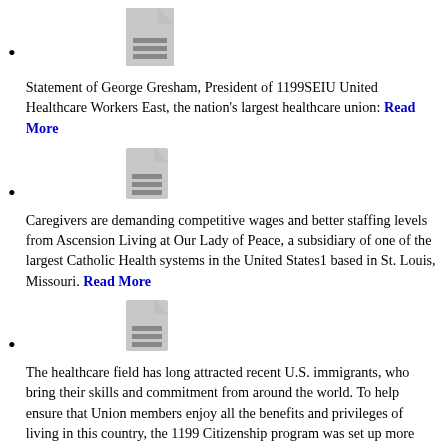[Figure (illustration): Document/page icon (gray)]
Statement of George Gresham, President of 1199SEIU United Healthcare Workers East, the nation's largest healthcare union: Read More
[Figure (illustration): Document/page icon (gray)]
Caregivers are demanding competitive wages and better staffing levels from Ascension Living at Our Lady of Peace, a subsidiary of one of the largest Catholic Health systems in the United States1 based in St. Louis, Missouri. Read More
[Figure (illustration): Document/page icon (gray)]
The healthcare field has long attracted recent U.S. immigrants, who bring their skills and commitment from around the world. To help ensure that Union members enjoy all the benefits and privileges of living in this country, the 1199 Citizenship program was set up more than 20 years ago. Read More